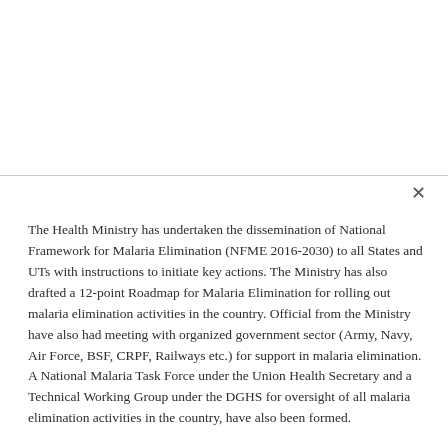The Health Ministry has undertaken the dissemination of National Framework for Malaria Elimination (NFME 2016-2030) to all States and UTs with instructions to initiate key actions. The Ministry has also drafted a 12-point Roadmap for Malaria Elimination for rolling out malaria elimination activities in the country. Official from the Ministry have also had meeting with organized government sector (Army, Navy, Air Force, BSF, CRPF, Railways etc.) for support in malaria elimination. A National Malaria Task Force under the Union Health Secretary and a Technical Working Group under the DGHS for oversight of all malaria elimination activities in the country, have also been formed.